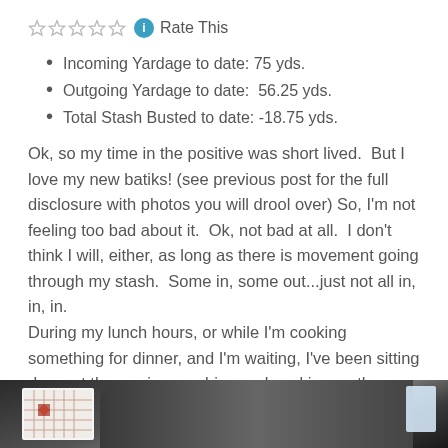Rate This
Incoming Yardage to date: 75 yds.
Outgoing Yardage to date:  56.25 yds.
Total Stash Busted to date: -18.75 yds.
Ok, so my time in the positive was short lived.  But I love my new batiks! (see previous post for the full disclosure with photos you will drool over) So, I'm not feeling too bad about it.  Ok, not bad at all.  I don't think I will, either, as long as there is movement going through my stash.  Some in, some out...just not all in, in, in.
During my lunch hours, or while I'm cooking something for dinner, and I'm waiting, I've been sitting down at the sewing machine and working on the pieced borders for my Boston Commons.
[Figure (photo): A dark photograph showing fabric or quilting materials on a surface]